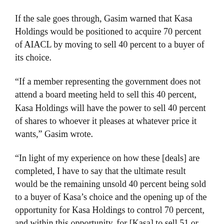If the sale goes through, Gasim warned that Kasa Holdings would be positioned to acquire 70 percent of AIACL by moving to sell 40 percent to a buyer of its choice.
“If a member representing the government does not attend a board meeting held to sell this 40 percent, Kasa Holdings will have the power to sell 40 percent of shares to whoever it pleases at whatever price it wants,” Gasim wrote.
“In light of my experience on how these [deals] are completed, I have to say that the ultimate result would be the remaining unsold 40 percent being sold to a buyer of Kasa’s choice and the opening up of the opportunity for Kasa Holdings to control 70 percent, and within this opportunity, for [Kasa] to sell 51 or more percent of AIA to another foreign